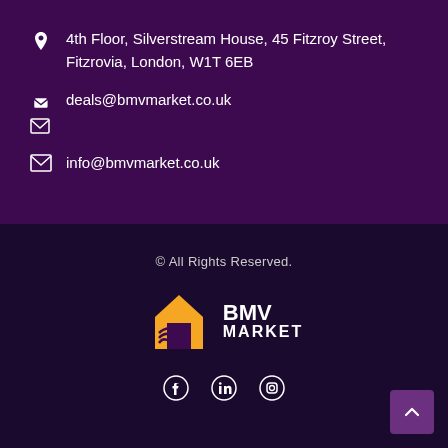4th Floor, Silverstream House, 45 Fitzroy Street, Fitzrovia, London, W1T 6EB
deals@bmvmarket.co.uk
info@bmvmarket.co.uk
© All Rights Reserved.
[Figure (logo): BMV Market logo with yellow house icon and white BMV MARKET text]
[Figure (illustration): Social media icons: Facebook, LinkedIn, Instagram]